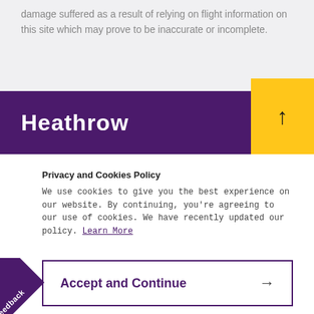damage suffered as a result of relying on flight information on this site which may prove to be inaccurate or incomplete.
[Figure (logo): Heathrow logo in white text on purple banner with yellow scroll-to-top button]
Privacy and Cookies Policy
We use cookies to give you the best experience on our website. By continuing, you're agreeing to our use of cookies. We have recently updated our policy. Learn More
Accept and Continue →